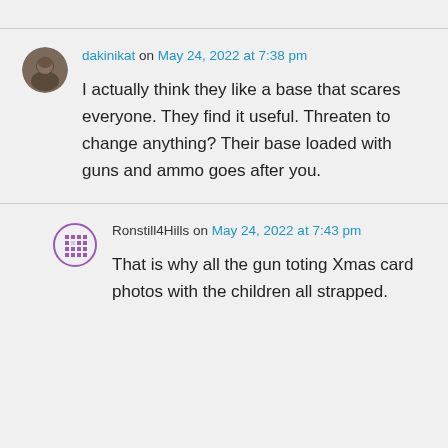dakinikat on May 24, 2022 at 7:38 pm
I actually think they like a base that scares everyone. They find it useful. Threaten to change anything? Their base loaded with guns and ammo goes after you.
Ronstill4Hills on May 24, 2022 at 7:43 pm
That is why all the gun toting Xmas card photos with the children all strapped.